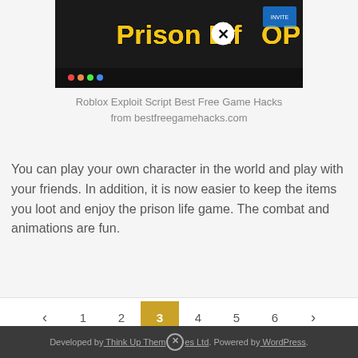[Figure (screenshot): Screenshot of a Roblox 'Prison Life OP GUI' game hack interface with yellow text on dark background]
Roblox Exploit Script Best Free Game Hacks from bestfreegamehacks.com
You can play your own character in the world and play with your friends. In addition, it is now easier to keep the items you loot and enjoy the prison life game. The combat and animations are fun.
...
READ MORE
< 1 2 3 4 5 6 >
Developed by Think Up Themes Ltd. Powered by WordPress.